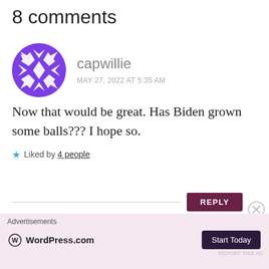8 comments
capwillie
MAY 27, 2022 AT 5:35 AM
Now that would be great. Has Biden grown some balls??? I hope so.
★ Liked by 4 people
REPLY
Advertisements
WordPress.com  Start Today